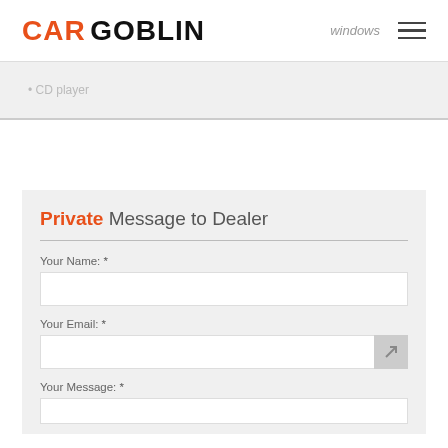CAR GOBLIN
CD player
Private Message to Dealer
Your Name: *
Your Email: *
Your Message: *